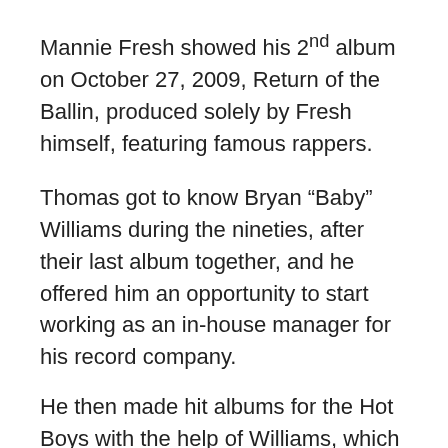Mannie Fresh showed his 2nd album on October 27, 2009, Return of the Ballin, produced solely by Fresh himself, featuring famous rappers.
Thomas got to know Bryan “Baby” Williams during the nineties, after their last album together, and he offered him an opportunity to start working as an in-house manager for his record company.
He then made hit albums for the Hot Boys with the help of Williams, which was comp…
Birdman, whose real name is Bryan “Baby” Williams, was born on February 15, 1969 in New Orleans. He is